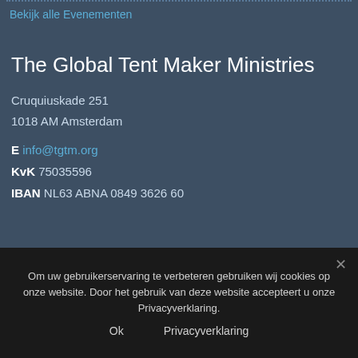Bekijk alle Evenementen
The Global Tent Maker Ministries
Cruquiuskade 251
1018 AM Amsterdam
E info@tgtm.org
KvK 75035596
IBAN NL63 ABNA 0849 3626 60
Om uw gebruikerservaring te verbeteren gebruiken wij cookies op onze website. Door het gebruik van deze website accepteert u onze Privacyverklaring.
Ok    Privacyverklaring